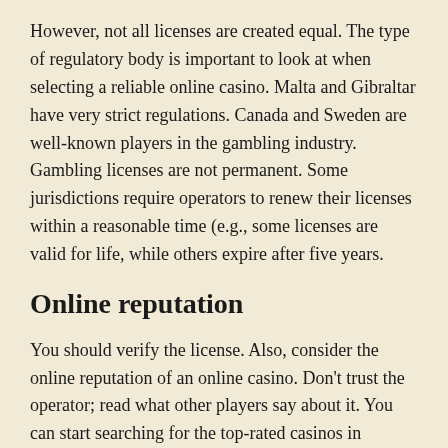However, not all licenses are created equal. The type of regulatory body is important to look at when selecting a reliable online casino. Malta and Gibraltar have very strict regulations. Canada and Sweden are well-known players in the gambling industry. Gambling licenses are not permanent. Some jurisdictions require operators to renew their licenses within a reasonable time (e.g., some licenses are valid for life, while others expire after five years.
Online reputation
You should verify the license. Also, consider the online reputation of an online casino. Don't trust the operator; read what other players say about it. You can start searching for the top-rated casinos in Australia by checking out review platforms. These sites will provide detailed information on any site that may interest you.